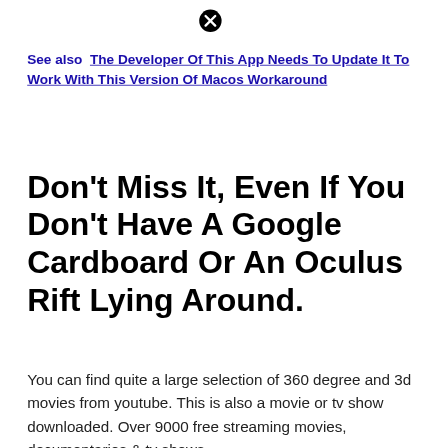[Figure (other): Close/cancel icon (circled X) at top center]
See also  The Developer Of This App Needs To Update It To Work With This Version Of Macos Workaround
Don't Miss It, Even If You Don't Have A Google Cardboard Or An Oculus Rift Lying Around.
You can find quite a large selection of 360 degree and 3d movies from youtube. This is also a movie or tv show downloaded. Over 9000 free streaming movies, documentaries & tv shows.
Where To Watch Free Vr And 3D Movies?
[Figure (other): Close/cancel icon (circled X) at bottom center]